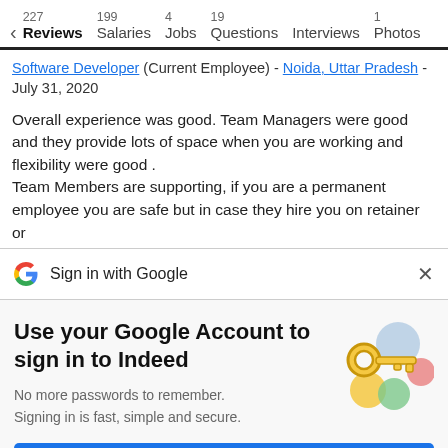227 Reviews  199 Salaries  4 Jobs  19 Questions  Interviews  1 Photos
Software Developer (Current Employee) - Noida, Uttar Pradesh - July 31, 2020
Overall experience was good. Team Managers were good and they provide lots of space when you are working and flexibility were good .
Team Members are supporting, if you are a permanent employee you are safe but in case they hire you on retainer or
[Figure (screenshot): Sign in with Google bar with Google logo and X close button]
Use your Google Account to sign in to Indeed
No more passwords to remember.
Signing in is fast, simple and secure.
[Figure (illustration): Illustration of a gold key with colorful circular shapes (blue, red, yellow, green)]
Continue